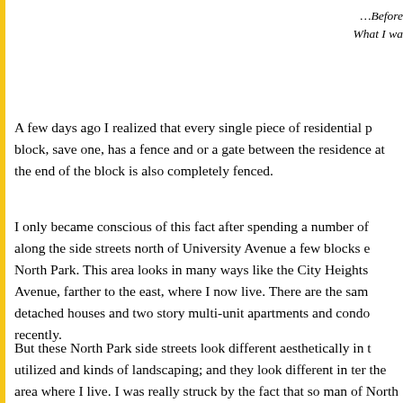…Before
What I wa
A few days ago I realized that every single piece of residential p… block, save one, has a fence and or a gate between the residence… at the end of the block is also completely fenced.
I only became conscious of this fact after spending a number of… along the side streets north of University Avenue a few blocks e… North Park. This area looks in many ways like the City Heights… Avenue, farther to the east, where I now live. There are the sam… detached houses and two story multi-unit apartments and condo… recently.
But these North Park side streets look different aesthetically in t… utilized and kinds of landscaping; and they look different in ter… the area where I live. I was really struck by the fact that so man… of North Park, close to a busy commercial area, still do not have…